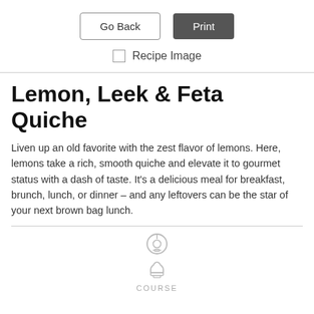[Figure (screenshot): Two UI buttons: 'Go Back' (outlined) and 'Print' (dark filled)]
[Figure (other): Checkbox labeled 'Recipe Image']
Lemon, Leek & Feta Quiche
Liven up an old favorite with the zest flavor of lemons. Here, lemons take a rich, smooth quiche and elevate it to gourmet status with a dash of taste. It's a delicious meal for breakfast, brunch, lunch, or dinner – and any leftovers can be the star of your next brown bag lunch.
[Figure (other): Two icons stacked: a power/cook icon and a chef hat icon, above the label COURSE]
COURSE